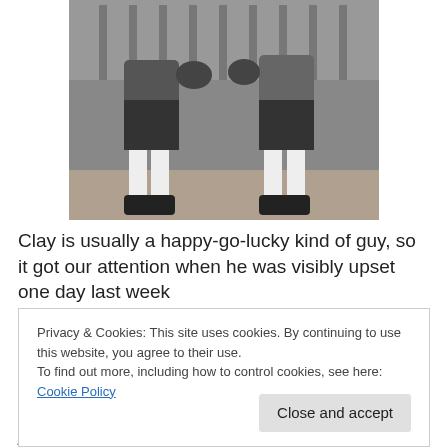[Figure (photo): Black and white historical photograph of two boxers sparring, wearing shorts and boxing gloves, in what appears to be an indoor gymnasium setting.]
Clay is usually a happy-go-lucky kind of guy, so it got our attention when he was visibly upset one day last week
Privacy & Cookies: This site uses cookies. By continuing to use this website, you agree to their use.
To find out more, including how to control cookies, see here: Cookie Policy
Close and accept
is still getting his feet wet. He is doing a great job, but